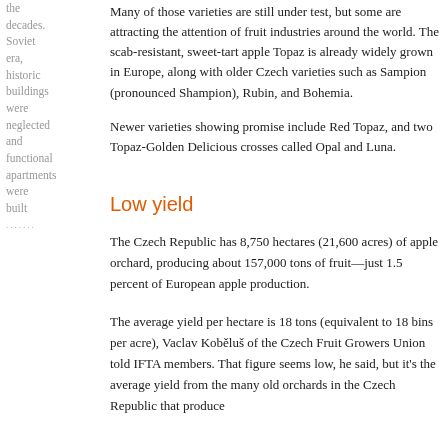the decades. Soviet era, historic buildings were neglected and functional apartments were built
Many of those varieties are still under test, but some are attracting the attention of fruit industries around the world. The scab-resistant, sweet-tart apple Topaz is already widely grown in Europe, along with older Czech varieties such as Sampion (pronounced Shampion), Rubin, and Bohemia.
Newer varieties showing promise include Red Topaz, and two Topaz-Golden Delicious crosses called Opal and Luna.
Low yield
The Czech Republic has 8,750 hectares (21,600 acres) of apple orchard, producing about 157,000 tons of fruit—just 1.5 percent of European apple production.
The average yield per hectare is 18 tons (equivalent to 18 bins per acre), Vaclav Koběluš of the Czech Fruit Growers Union told IFTA members. That figure seems low, he said, but it's the average yield from the many old orchards in the Czech Republic that produce